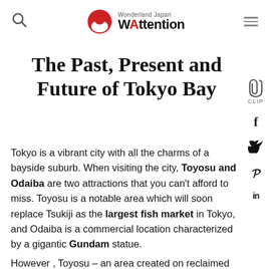Wonderland Japan WAttention
The Past, Present and Future of Tokyo Bay
Tokyo is a vibrant city with all the charms of a bayside suburb. When visiting the city, Toyosu and Odaiba are two attractions that you can't afford to miss. Toyosu is a notable area which will soon replace Tsukiji as the largest fish market in Tokyo, and Odaiba is a commercial location characterized by a gigantic Gundam statue.
However , Toyosu – an area created on reclaimed